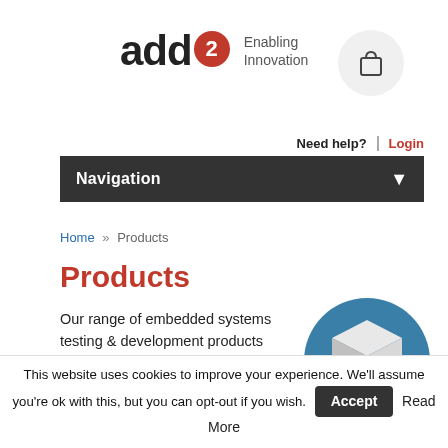[Figure (logo): add2 Enabling Innovation logo with red circle badge containing '2', and a shopping cart icon in top right]
Need help?  Login
Navigation
Home » Products
Products
Our range of embedded systems testing & development products allow vehicle manufacturers to build and test embedded
[Figure (illustration): Blue circle with white 3D cube icon representing products]
This website uses cookies to improve your experience. We'll assume you're ok with this, but you can opt-out if you wish.  Accept  Read More